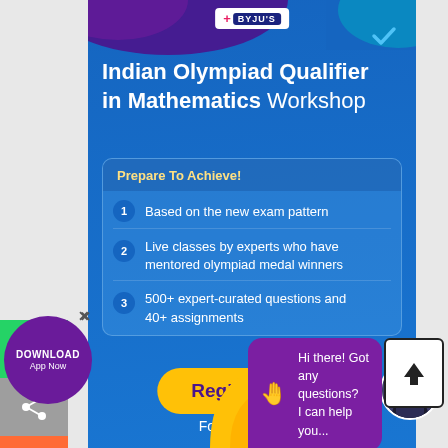[Figure (infographic): BYJU'S Indian Olympiad Qualifier in Mathematics Workshop promotional ad with blue background, wave design, BYJU'S logo, title, feature list, Register Now button, and For Classes 8-12 text.]
Indian Olympiad Qualifier in Mathematics Workshop
Prepare To Achieve!
Based on the new exam pattern
Live classes by experts who have mentored olympiad medal winners
500+ expert-curated questions and 40+ assignments
Register Now
For Classes 8-12
Hi there! Got any questions? I can help you...
DOWNLOAD App Now